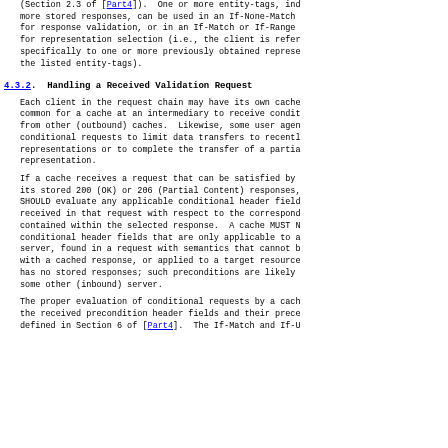(Section 2.3 of [Part4]).  One or more entity-tags, ind more stored responses, can be used in an If-None-Match for response validation, or in an If-Match or If-Range for representation selection (i.e., the client is refer specifically to one or more previously obtained represe the listed entity-tags).
4.3.2.  Handling a Received Validation Request
Each client in the request chain may have its own cache common for a cache at an intermediary to receive condit from other (outbound) caches.  Likewise, some user agen conditional requests to limit data transfers to recentl representations or to complete the transfer of a partia representation.
If a cache receives a request that can be satisfied by its stored 200 (OK) or 206 (Partial Content) responses, SHOULD evaluate any applicable conditional header field received in that request with respect to the correspond contained within the selected response.  A cache MUST N conditional header fields that are only applicable to a server, found in a request with semantics that cannot b with a cached response, or applied to a target resource has no stored responses; such preconditions are likely some other (inbound) server.
The proper evaluation of conditional requests by a cach the received precondition header fields and their prece defined in Section 6 of [Part4].  The If-Match and If-U